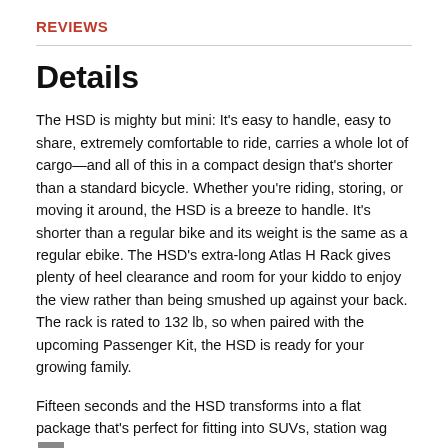REVIEWS
Details
The HSD is mighty but mini: It's easy to handle, easy to share, extremely comfortable to ride, carries a whole lot of cargo—and all of this in a compact design that's shorter than a standard bicycle. Whether you're riding, storing, or moving it around, the HSD is a breeze to handle. It's shorter than a regular bike and its weight is the same as a regular ebike. The HSD's extra-long Atlas H Rack gives plenty of heel clearance and room for your kiddo to enjoy the view rather than being smushed up against your back. The rack is rated to 132 lb, so when paired with the upcoming Passenger Kit, the HSD is ready for your growing family.
Fifteen seconds and the HSD transforms into a flat package that's perfect for fitting into SUVs, station wagons